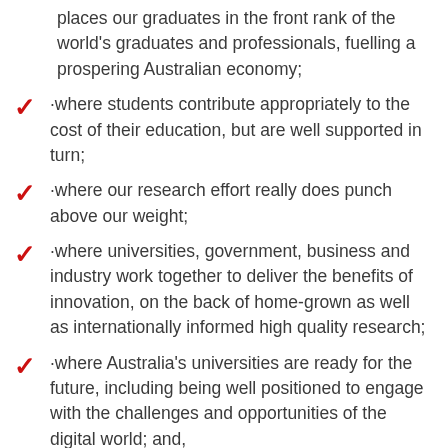places our graduates in the front rank of the world's graduates and professionals, fuelling a prospering Australian economy;
·where students contribute appropriately to the cost of their education, but are well supported in turn;
·where our research effort really does punch above our weight;
·where universities, government, business and industry work together to deliver the benefits of innovation, on the back of home-grown as well as internationally informed high quality research;
·where Australia's universities are ready for the future, including being well positioned to engage with the challenges and opportunities of the digital world; and,